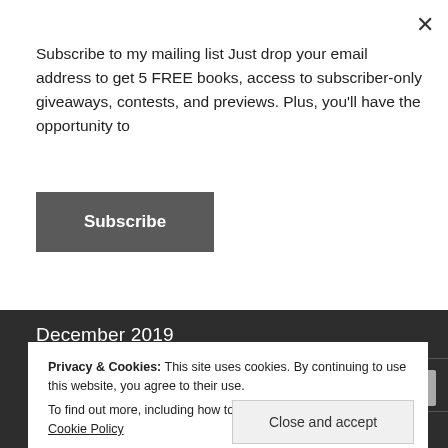Subscribe to my mailing list Just drop your email address to get 5 FREE books, access to subscriber-only giveaways, contests, and previews. Plus, you'll have the opportunity to
Subscribe
December 2019
November 2019
October 2019
Privacy & Cookies: This site uses cookies. By continuing to use this website, you agree to their use.
To find out more, including how to control cookies, see here: Cookie Policy
Close and accept